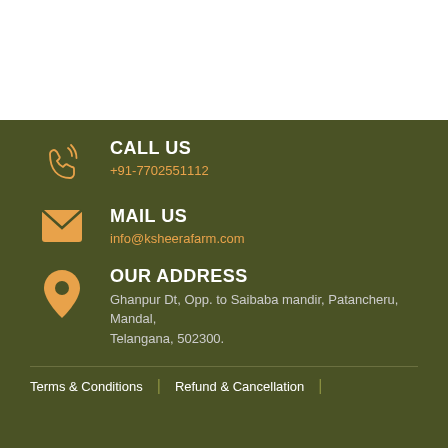CALL US +91-7702551112
MAIL US info@ksheerafarm.com
OUR ADDRESS Ghanpur Dt, Opp. to Saibaba mandir, Patancheru, Mandal, Telangana, 502300.
Terms & Conditions | Refund & Cancellation |